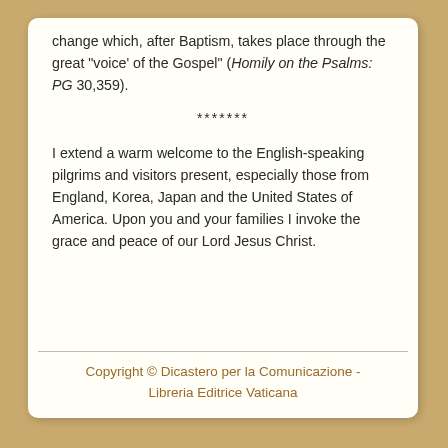change which, after Baptism, takes place through the great "voice' of the Gospel" (Homily on the Psalms:  PG 30,359).
*******
I extend a warm welcome to the English-speaking pilgrims and visitors present, especially those from England, Korea, Japan and the United States of America. Upon you and your families I invoke the grace and peace of our Lord Jesus Christ.
Copyright © Dicastero per la Comunicazione - Libreria Editrice Vaticana